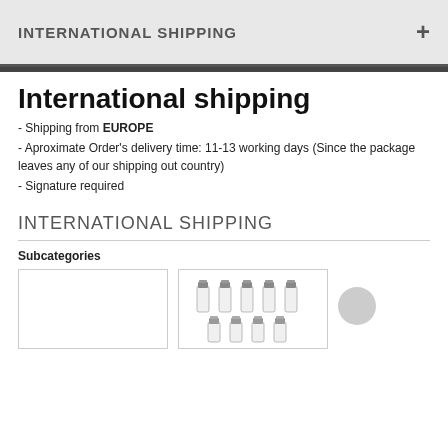INTERNATIONAL SHIPPING
International shipping
- Shipping from EUROPE
- Aproximate Order's delivery time: 11-13 working days (Since the package leaves any of our shipping out country)
- Signature required
INTERNATIONAL SHIPPING
Subcategories
[Figure (photo): Empty white thumbnail box]
[Figure (photo): Product image showing multiple medicine vials arranged in two rows]